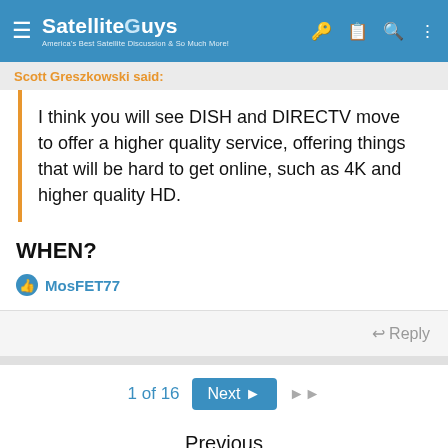SatelliteGuys — America's Best Satellite Discussion & So Much More!
Scott Greszkowski said:
I think you will see DISH and DIRECTV move to offer a higher quality service, offering things that will be hard to get online, such as 4K and higher quality HD.
WHEN?
MosFET77
Reply
1 of 16   Next  ▶▶
Previous
Next